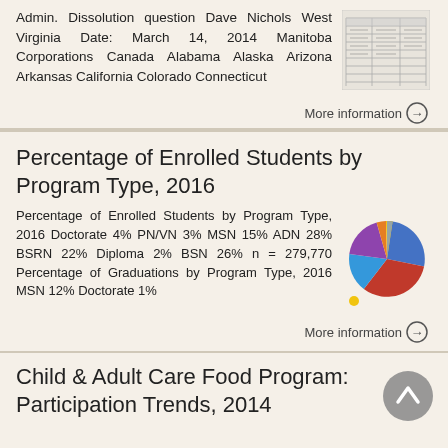Admin. Dissolution question Dave Nichols West Virginia Date: March 14, 2014 Manitoba Corporations Canada Alabama Alaska Arizona Arkansas California Colorado Connecticut
[Figure (table-as-image): Small thumbnail of a table document]
More information →
Percentage of Enrolled Students by Program Type, 2016
Percentage of Enrolled Students by Program Type, 2016 Doctorate 4% PN/VN 3% MSN 15% ADN 28% BSRN 22% Diploma 2% BSN 26% n = 279,770 Percentage of Graduations by Program Type, 2016 MSN 12% Doctorate 1%
[Figure (pie-chart): Percentage of Enrolled Students by Program Type, 2016]
More information →
Child & Adult Care Food Program: Participation Trends, 2014